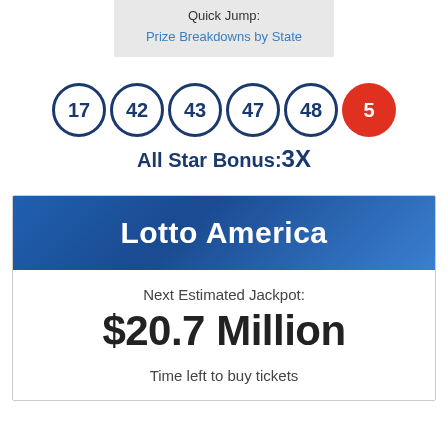Quick Jump:
Prize Breakdowns by State
[Figure (infographic): Lottery balls showing numbers 17, 42, 43, 47, 48 (blue outlined circles) and 5 (red filled circle), with All Star Bonus: 3X below]
All Star Bonus: 3X
Lotto America
Next Estimated Jackpot:
$20.7 Million
Time left to buy tickets